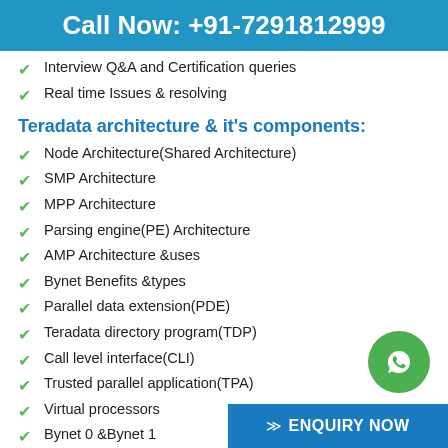Call Now: +91-7291812999
Interview Q&A and Certification queries
Real time Issues & resolving
Teradata architecture & it's components:
Node Architecture(Shared Architecture)
SMP Architecture
MPP Architecture
Parsing engine(PE) Architecture
AMP Architecture &uses
Bynet Benefits &types
Parallel data extension(PDE)
Teradata directory program(TDP)
Call level interface(CLI)
Trusted parallel application(TPA)
Virtual processors
Bynet 0 &Bynet 1
Parallism Architecture
[Figure (logo): WhatsApp contact button (green circle with phone icon)]
ENQUIRY NOW